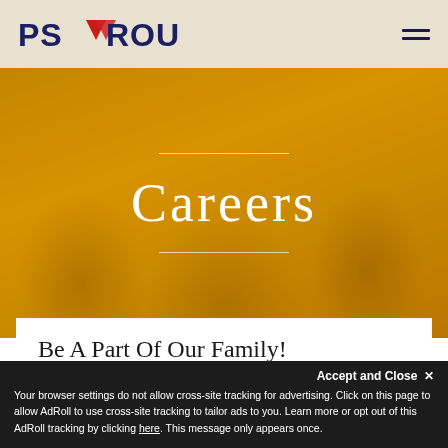[Figure (logo): PS Group logo with red arrow/triangle icon between 'PS' and 'GROUP' text in navy blue]
[Figure (other): Hamburger menu icon (three horizontal lines) in top right corner]
[Figure (photo): Hero banner image with gold/amber color overlay showing people smiling in an office environment, with decorative horizontal lines above and below the title]
Careers
Be A Part Of Our Family!
Your browser settings do not allow cross-site tracking for advertising. Click on this page to allow AdRoll to use cross-site tracking to tailor ads to you. Learn more or opt out of this AdRoll tracking by clicking here. This message only appears once.
Accept and Close ✕